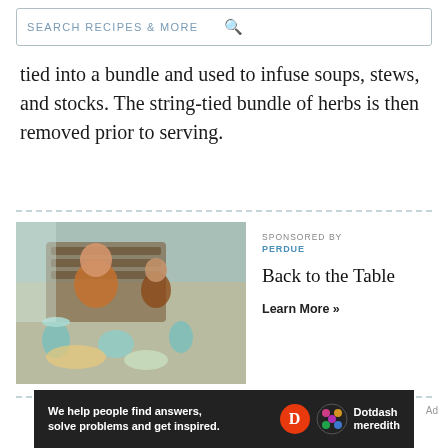[Figure (screenshot): Search bar with text SEARCH RECIPES & MORE and magnifying glass icon]
tied into a bundle and used to infuse soups, stews, and stocks. The string-tied bundle of herbs is then removed prior to serving.
[Figure (photo): Sponsored ad block showing a photo of two girls laughing at a dining table with food, sponsored by Perdue, titled Back to the Table with Learn More link]
[Figure (screenshot): Footer banner: We help people find answers, solve problems and get inspired. Dotdash Meredith logo]